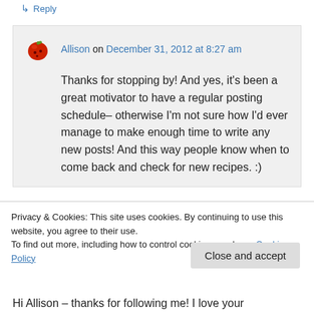↳ Reply
Allison on December 31, 2012 at 8:27 am
Thanks for stopping by! And yes, it's been a great motivator to have a regular posting schedule– otherwise I'm not sure how I'd ever manage to make enough time to write any new posts! And this way people know when to come back and check for new recipes. :)
Privacy & Cookies: This site uses cookies. By continuing to use this website, you agree to their use.
To find out more, including how to control cookies, see here: Cookie Policy
Close and accept
Hi Allison – thanks for following me! I love your